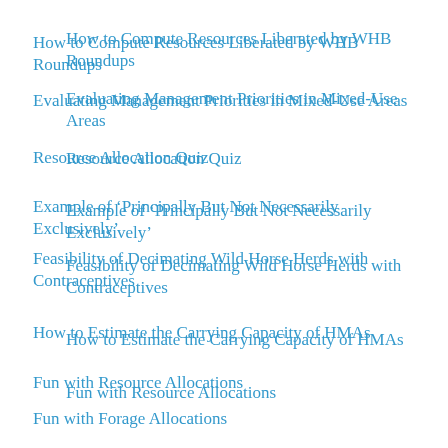How to Compute Resources Liberated by WHB Roundups
Evaluating Management Priorities in Mixed-Use Areas
Resource Allocation Quiz
Example of ‘Principally But Not Necessarily Exclusively’
Feasibility of Decimating Wild Horse Herds with Contraceptives
How to Estimate the Carrying Capacity of HMAs
Fun with Resource Allocations
Fun with Forage Allocations
Hall of Shame